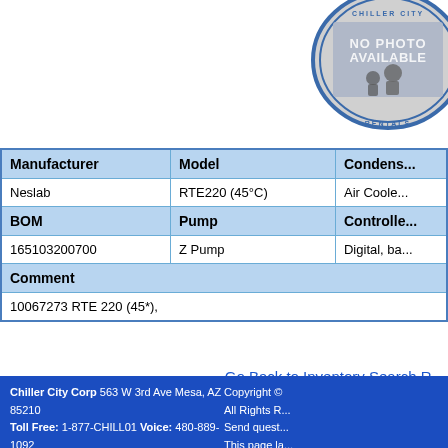[Figure (logo): Circular logo/stamp reading 'NO PHOTO AVAILABLE' with 'CHILLER CITY' text around the border]
| Manufacturer | Model | Condenser | BOM | Pump | Controller | Comment |
| --- | --- | --- | --- | --- | --- | --- |
| Neslab | RTE220 (45°C) | Air Cooled |
| 165103200700 | Z Pump | Digital, ba... |
| 10067273 RTE 220 (45*), |  |  |
Go Back to Inventory Search R...
Chiller City Corp 563 W 3rd Ave Mesa, AZ 85210 Toll Free: 1-877-CHILL01 Voice: 480-889-1092 Fax: 602-532-7545 Email: sales@chillercity.com If you are having trouble emailing us Click Here | Copyright © All Rights R... Send quest... This page la...